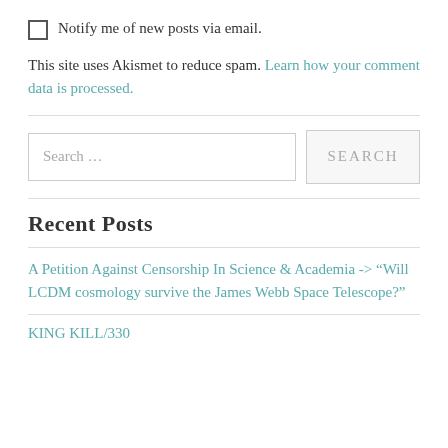Notify me of new posts via email.
This site uses Akismet to reduce spam. Learn how your comment data is processed.
Search …
Recent Posts
A Petition Against Censorship In Science & Academia -> “Will LCDM cosmology survive the James Webb Space Telescope?”
KING KILL/330